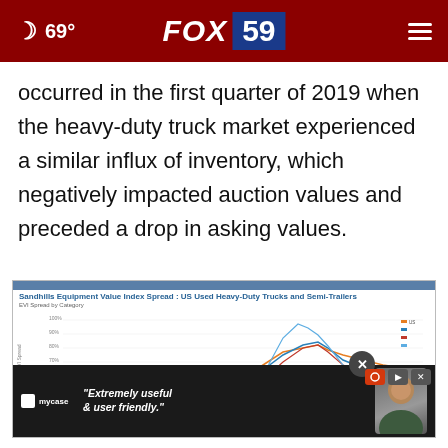FOX 59 — 69°
occurred in the first quarter of 2019 when the heavy-duty truck market experienced a similar influx of inventory, which negatively impacted auction values and preceded a drop in asking values.
[Figure (line-chart): Multi-line chart showing EVI Spread by Category over time, with multiple colored lines (blue, orange, red, light blue) showing spread percentages from approximately 0% to 100%+]
[Figure (screenshot): Advertisement overlay for mycase: 'Extremely useful & user friendly.' with a person smiling]